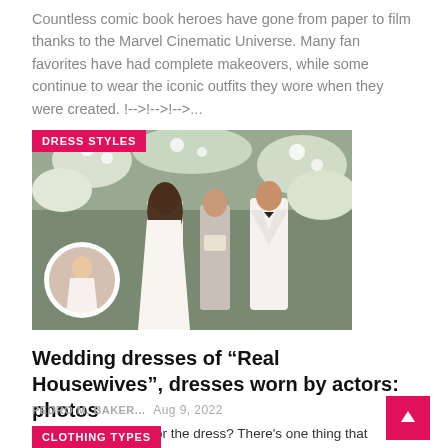Countless comic book heroes have gone from paper to film thanks to the Marvel Cinematic Universe. Many fan favorites have had complete makeovers, while some continue to wear the iconic outfits they wore when they were created. !-->!-->!-->...
[Figure (photo): Wedding scene photo with a couple and officiant, floral backdrop, with a circular inset thumbnail of a bride in a white dress. Tag label reads DRESS STYLES.]
Wedding dresses of “Real Housewives”, dresses worn by actors: photos
PEDRO M. BAKER...   Aug 9, 2022
Can we do a bustle for the dress? There’s one thing that separates a lover from a housewife, and that’s an extravagant wedding with all the perks, including a striking dress. Fans saw a handful of brides from The Real Housewives...
CLOTHING TYPES